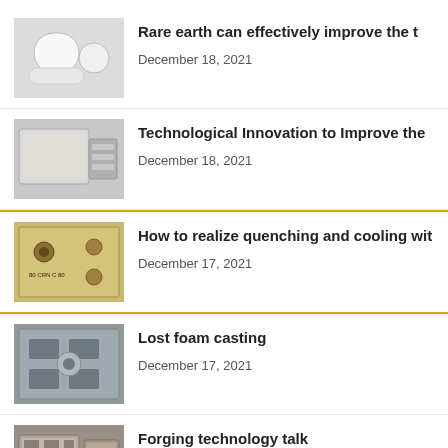Rare earth can effectively improve the t
December 18, 2021
Technological Innovation to Improve the
December 18, 2021
How to realize quenching and cooling wit
December 17, 2021
Lost foam casting
December 17, 2021
Forging technology talk
December 16, 2021